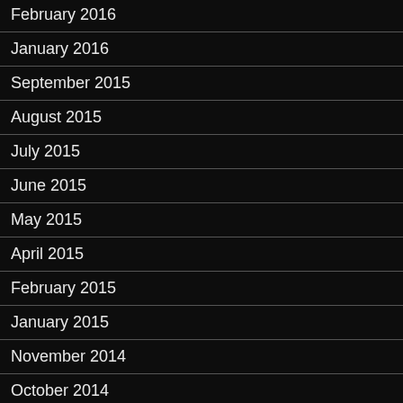February 2016
January 2016
September 2015
August 2015
July 2015
June 2015
May 2015
April 2015
February 2015
January 2015
November 2014
October 2014
September 2014